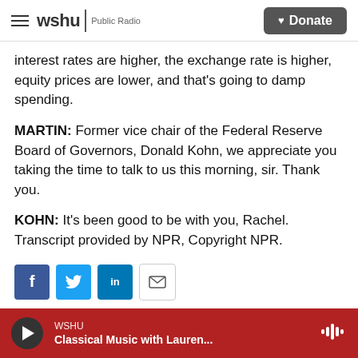wshu | Public Radio — Donate
interest rates are higher, the exchange rate is higher, equity prices are lower, and that's going to damp spending.
MARTIN: Former vice chair of the Federal Reserve Board of Governors, Donald Kohn, we appreciate you taking the time to talk to us this morning, sir. Thank you.
KOHN: It's been good to be with you, Rachel. Transcript provided by NPR, Copyright NPR.
[Figure (other): Social share buttons: Facebook, Twitter, LinkedIn, Email]
WSHU — Classical Music with Lauren...